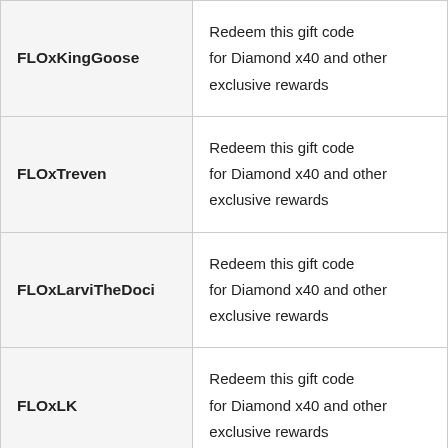| Code | Reward |
| --- | --- |
| FLOxKingGoose | Redeem this gift code for Diamond x40 and other exclusive rewards |
| FLOxTreven | Redeem this gift code for Diamond x40 and other exclusive rewards |
| FLOxLarviTheDoci | Redeem this gift code for Diamond x40 and other exclusive rewards |
| FLOxLK | Redeem this gift code for Diamond x40 and other exclusive rewards |
| FLOxModMonk3y | Redeem this gift code for Diamond x40 and other exclusive rewards |